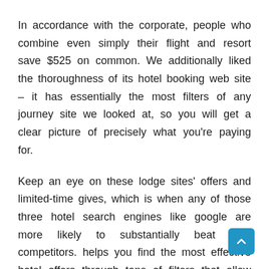In accordance with the corporate, people who combine even simply their flight and resort save $525 on common. We additionally liked the thoroughness of its hotel booking web site – it has essentially the most filters of any journey site we looked at, so you will get a clear picture of precisely what you're paying for.
Keep an eye on these lodge sites' offers and limited-time gives, which is when any of those three hotel search engines like google are more likely to substantially beat their competitors. helps you find the most effective hotel offers through tons of filters that allow you to slim down your search.